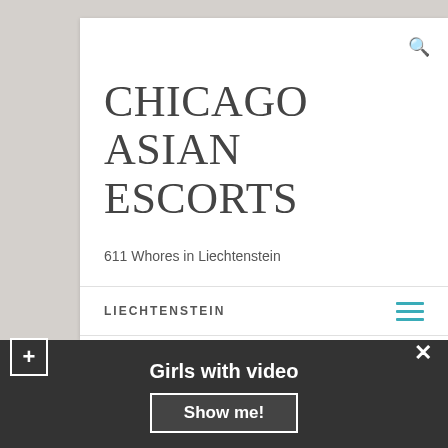CHICAGO ASIAN ESCORTS
611 Whores in Liechtenstein
LIECHTENSTEIN
Slut in Liechtenstein
Girls with video  Show me!